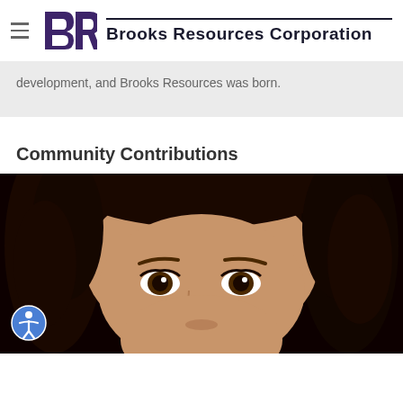Brooks Resources Corporation
development, and Brooks Resources was born.
Community Contributions
[Figure (photo): Close-up photograph of a child's face with curly brown hair and brown eyes, against a dark background.]